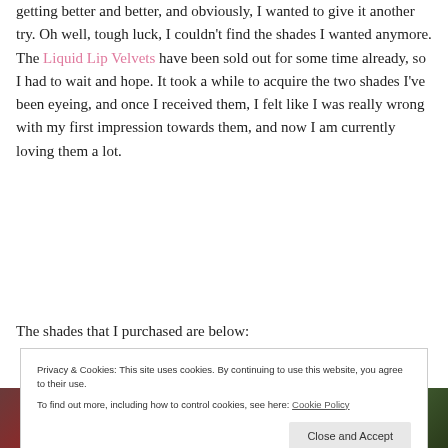getting better and better, and obviously, I wanted to give it another try. Oh well, tough luck, I couldn't find the shades I wanted anymore. The Liquid Lip Velvets have been sold out for some time already, so I had to wait and hope. It took a while to acquire the two shades I've been eyeing, and once I received them, I felt like I was really wrong with my first impression towards them, and now I am currently loving them a lot.
The shades that I purchased are below:
Privacy & Cookies: This site uses cookies. By continuing to use this website, you agree to their use. To find out more, including how to control cookies, see here: Cookie Policy
[Figure (photo): Bottom strip showing partial photo of cosmetic products with green background]